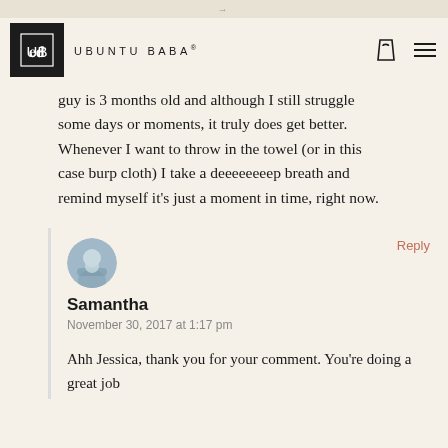→
[Figure (logo): Ubuntu Baba logo — black square with UB monogram and brand name]
guy is 3 months old and although I still struggle some days or moments, it truly does get better. Whenever I want to throw in the towel (or in this case burp cloth) I take a deeeeeeeep breath and remind myself it's just a moment in time, right now.
Samantha
November 30, 2017 at 1:17 pm
Ahh Jessica, thank you for your comment. You're doing a great job